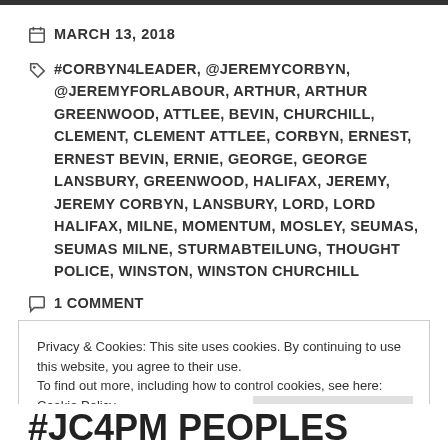MARCH 13, 2018
#CORBYN4LEADER, @JEREMYCORBYN, @JEREMYFORLABOUR, ARTHUR, ARTHUR GREENWOOD, ATTLEE, BEVIN, CHURCHILL, CLEMENT, CLEMENT ATTLEE, CORBYN, ERNEST, ERNEST BEVIN, ERNIE, GEORGE, GEORGE LANSBURY, GREENWOOD, HALIFAX, JEREMY, JEREMY CORBYN, LANSBURY, LORD, LORD HALIFAX, MILNE, MOMENTUM, MOSLEY, SEUMAS, SEUMAS MILNE, STURMABTEILUNG, THOUGHT POLICE, WINSTON, WINSTON CHURCHILL
1 COMMENT
Privacy & Cookies: This site uses cookies. By continuing to use this website, you agree to their use.
To find out more, including how to control cookies, see here: Cookie Policy
Close and accept
#JC4PM PEOPLES